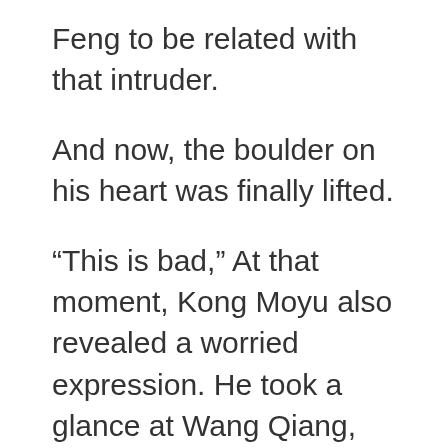Feng to be related with that intruder.
And now, the boulder on his heart was finally lifted.
“This is bad,” At that moment, Kong Moyu also revealed a worried expression. He took a glance at Wang Qiang, and then took a glance at Chu Feng.
Then, he looked to Kong Shunlian and said, “Brother